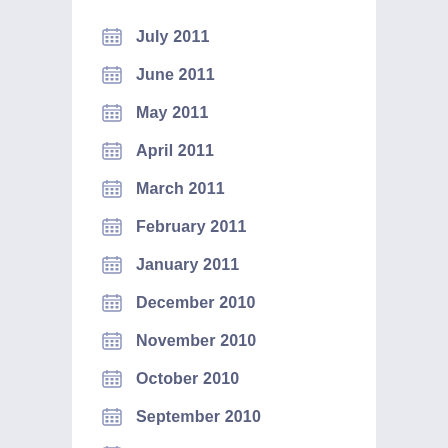July 2011
June 2011
May 2011
April 2011
March 2011
February 2011
January 2011
December 2010
November 2010
October 2010
September 2010
August 2010